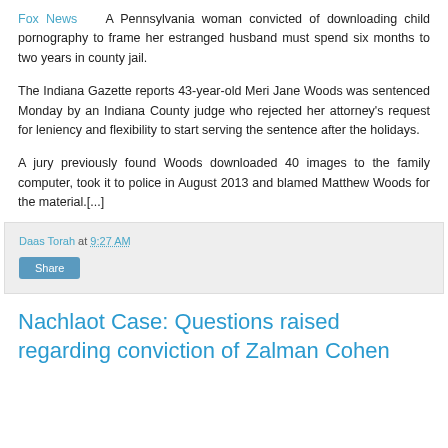Fox News   A Pennsylvania woman convicted of downloading child pornography to frame her estranged husband must spend six months to two years in county jail.
The Indiana Gazette reports 43-year-old Meri Jane Woods was sentenced Monday by an Indiana County judge who rejected her attorney's request for leniency and flexibility to start serving the sentence after the holidays.
A jury previously found Woods downloaded 40 images to the family computer, took it to police in August 2013 and blamed Matthew Woods for the material.[...]
Daas Torah at 9:27 AM
Share
Nachlaot Case: Questions raised regarding conviction of Zalman Cohen